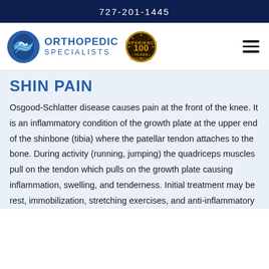727-201-1445
[Figure (logo): Orthopedic Specialists logo with circular blue wave emblem, text 'ORTHOPEDIC SPECIALISTS', and a 100 Years Experience gold badge seal]
SHIN PAIN
Osgood-Schlatter disease causes pain at the front of the knee.  It is an inflammatory condition of the growth plate at the upper end of the shinbone (tibia) where the patellar tendon attaches to the bone.  During activity (running, jumping)  the quadriceps muscles pull on the tendon which pulls on the growth plate causing inflammation, swelling, and tenderness.  Initial treatment may be rest, immobilization, stretching exercises, and anti-inflammatory...